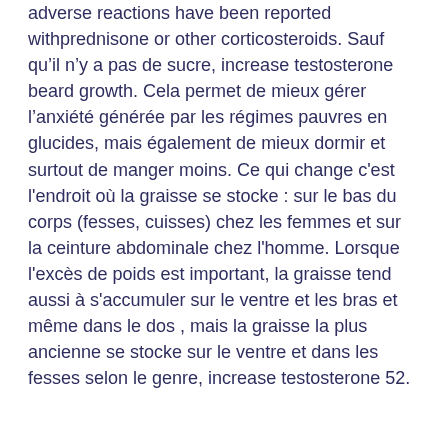adverse reactions have been reported withprednisone or other corticosteroids. Sauf qu&rsquo;il n&rsquo;y a pas de sucre, increase testosterone beard growth. Cela permet de mieux g&eacute;rer l&rsquo;anxi&eacute;t&eacute; g&eacute;n&eacute;r&eacute;e par les r&eacute;gimes pauvres en glucides, mais &eacute;galement de mieux dormir et surtout de manger moins. Ce qui change c'est l'endroit où la graisse se stocke : sur le bas du corps (fesses, cuisses) chez les femmes et sur la ceinture abdominale chez l'homme. Lorsque l'excès de poids est important, la graisse tend aussi à s'accumuler sur le ventre et les bras et même dans le dos , mais la graisse la plus ancienne se stocke sur le ventre et dans les fesses selon le genre, increase testosterone 52.